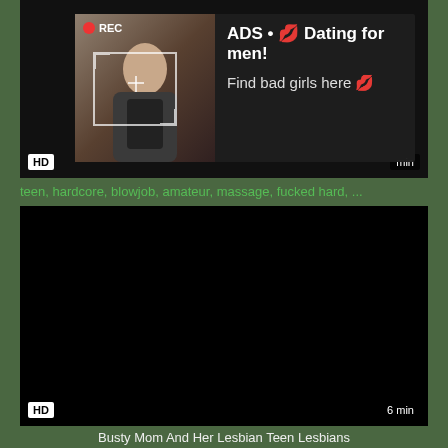[Figure (screenshot): Video thumbnail with REC indicator, HD badge, and advertisement overlay showing a person taking a mirror selfie with text 'ADS • Dating for men! Find bad girls here']
teen, hardcore, blowjob, amateur, massage, fucked hard, ...
[Figure (screenshot): Black video thumbnail with HD badge and 6 min duration label]
Busty Mom And Her Lesbian Teen Lesbians